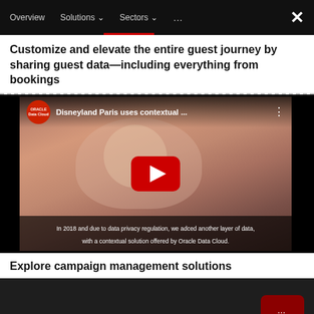Overview   Solutions   Sectors   ...
Customize and elevate the entire guest journey by sharing guest data—including everything from bookings
[Figure (screenshot): YouTube video thumbnail showing 'Disneyland Paris uses contextual ...' with Oracle Data Cloud branding, a child blowing bubbles, a red play button, and subtitle: 'In 2018 and due to data privacy regulation, we added another layer of data, with a contextual solution offered by Oracle Data Cloud.']
Explore campaign management solutions